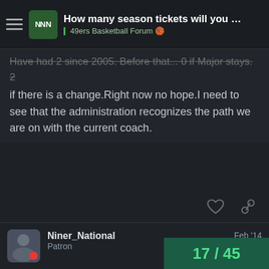How many season tickets will you buy if M... | 49ers Basketball Forum
Have had 2 since 2005. Before that... 0 if Major stays. 2 if there is a change. Right now no hope. I need to see that the administration recognizes the path we are on with the current coach.
Niner_National
Patron
Feb '14
[quote="49r9r, post:18, topic:28630"]It is possible to still support the school without buying basketball tickets you do not need. There is still football, baseball, soccer, and academics.[/quote]This.

I'll probably still get football season tic
not really a big fan of another season p